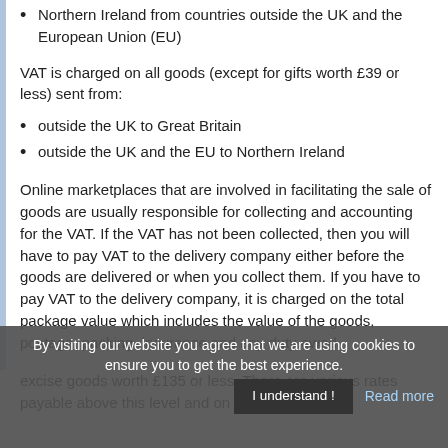Northern Ireland from countries outside the UK and the European Union (EU)
VAT is charged on all goods (except for gifts worth £39 or less) sent from:
outside the UK to Great Britain
outside the UK and the EU to Northern Ireland
Online marketplaces that are involved in facilitating the sale of goods are usually responsible for collecting and accounting for the VAT. If the VAT has not been collected, then you will have to pay VAT to the delivery company either before the goods are delivered or when you collect them. If you have to pay VAT to the delivery company, it is charged on the total package value which includes the value of the goods, postage, packing, insurance and any duty owed.
excise goods worth £135 or less. There are various rates payable above this level and on ex... value.
By visiting our website you agree that we are using cookies to ensure you to get the best experience.